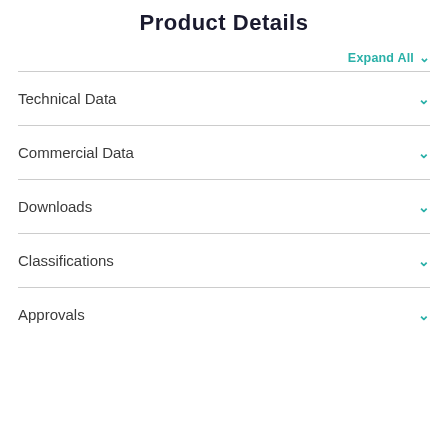Product Details
Expand All ∨
Technical Data
Commercial Data
Downloads
Classifications
Approvals